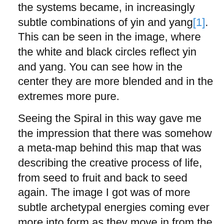the systems became, in increasingly subtle combinations of yin and yang[1]. This can be seen in the image, where the white and black circles reflect yin and yang. You can see how in the center they are more blended and in the extremes more pure.
Seeing the Spiral in this way gave me the impression that there was somehow a meta-map behind this map that was describing the creative process of life, from seed to fruit and back to seed again. The image I got was of more subtle archetypal energies coming ever more into form as they move in from the outer dynamics (beige-turquoise) to the core where it crystallises into manifestation (between blue and orange). This also happens to be the location on our Spiral octave map of the heart chakra (verified through body energy research), the ultimate place of connection and crystallisation. I had